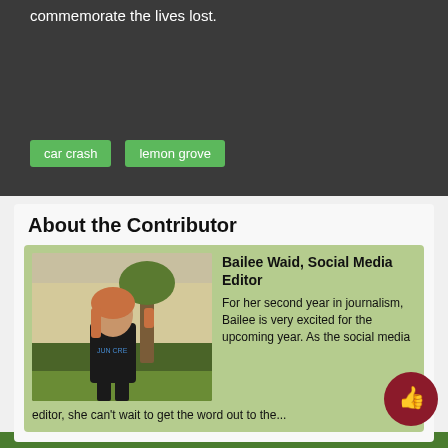commemorate the lives lost.
car crash
lemon grove
About the Contributor
[Figure (photo): Photo of Bailee Waid standing outdoors in front of a tree and hedges, wearing a black hoodie]
Bailee Waid, Social Media Editor
For her second year in journalism, Bailee is very excited for the upcoming year. As the social media editor, she can't wait to get the word out to the...